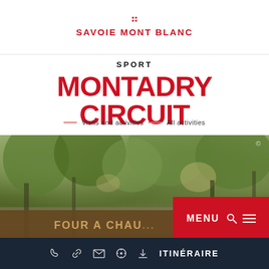SAVOIE MONT BLANC
SPORT
MONTADRY CIRCUIT
Visits and activities — All activities
[Figure (photo): Forest trail photo with a wooden sign reading FOUR A CHAU... at the bottom, with trees and foliage in the background. A red MENU button with search and list icons overlaid in the bottom-right corner.]
ITINÉRAIRE (with phone, link, email, compass, download icons)